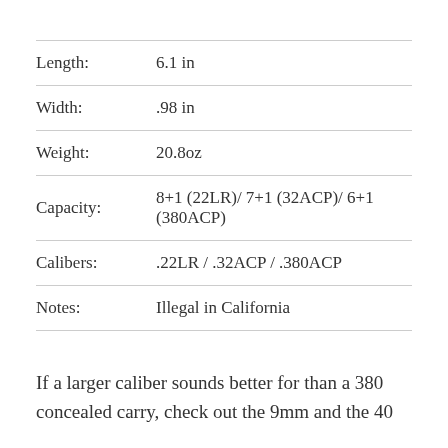| Attribute | Value |
| --- | --- |
| Length: | 6.1 in |
| Width: | .98 in |
| Weight: | 20.8oz |
| Capacity: | 8+1 (22LR)/ 7+1 (32ACP)/ 6+1 (380ACP) |
| Calibers: | .22LR / .32ACP / .380ACP |
| Notes: | Illegal in California |
If a larger caliber sounds better for than a 380 concealed carry, check out the 9mm and the 40